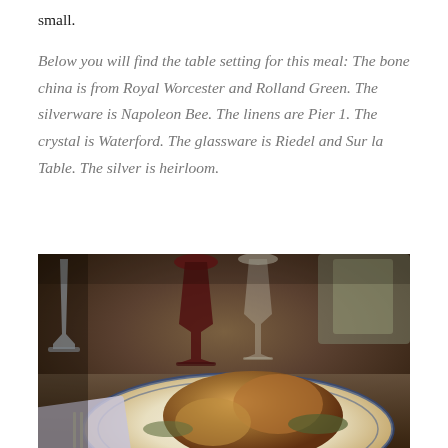small.
Below you will find the table setting for this meal: The bone china is from Royal Worcester and Rolland Green. The silverware is Napoleon Bee. The linens are Pier 1. The crystal is Waterford. The glassware is Riedel and Sur la Table. The silver is heirloom.
[Figure (photo): A elegantly set dinner table with a roasted chicken on a blue and white bone china plate, crystal wine glasses with red and white wine, a crystal candlestick holder, silverware, linen napkin, and decorative crystal glassware in the background.]